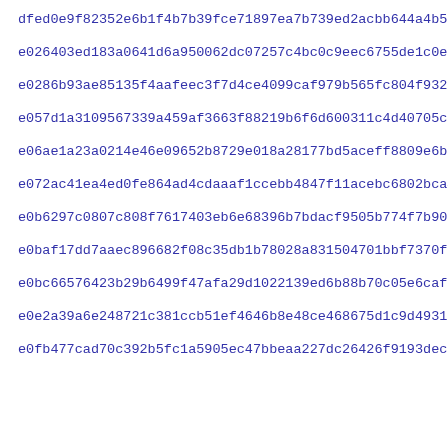dfed0e9f82352e6b1f4b7b39fce71897ea7b739ed2acbb644a4b5e3d45689
e026403ed183a0641d6a950062dc07257c4bc0c9eec6755de1c0e3718ab4c
e0286b93ae85135f4aafeec3f7d4ce4099caf979b565fc804f9329319c063
e057d1a3109567339a459af3663f88219b6f6d600311c4d40705c24d6b57b
e06ae1a23a0214e46e09652b8729e018a28177bd5aceff8809e6bb19c96d0
e072ac41ea4ed0fe864ad4cdaaaf1ccebb4847f11acebc6802bca4b8fb5a7
e0b6297c0807c808f7617403eb6e68396b7bdacf9505b774f7b903851ace4
e0baf17dd7aaec896682f08c35db1b78028a831504701bbf7370f1b10eeba
e0bc66576423b29b6499f47afa29d1022139ed6b88b70c05e6caff6da42d7
e0e2a39a6e248721c381ccb51ef4646b8e48ce468675d1c9d4931c453957a
e0fb477cad70c392b5fc1a5905ec47bbeaa227dc26426f9193dec82b321c6